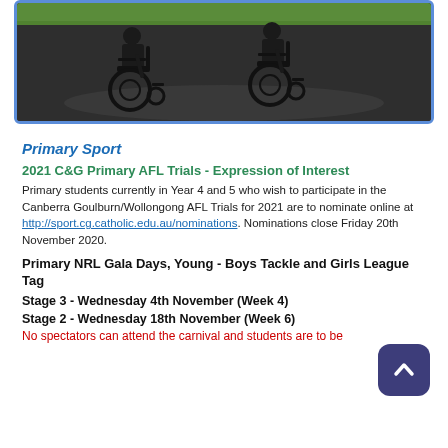[Figure (photo): Two people in wheelchairs on a dark court surface, photographed from behind, with green grass visible in the background. Image is framed with a blue border.]
Primary Sport
2021 C&G Primary AFL Trials - Expression of Interest
Primary students currently in Year 4 and 5 who wish to participate in the Canberra Goulburn/Wollongong AFL Trials for 2021 are to nominate online at http://sport.cg.catholic.edu.au/nominations. Nominations close Friday 20th November 2020.
Primary NRL Gala Days, Young - Boys Tackle and Girls League Tag
Stage 3 - Wednesday 4th November (Week 4)
Stage 2 - Wednesday 18th November (Week 6)
No spectators can attend the carnival and students are to be